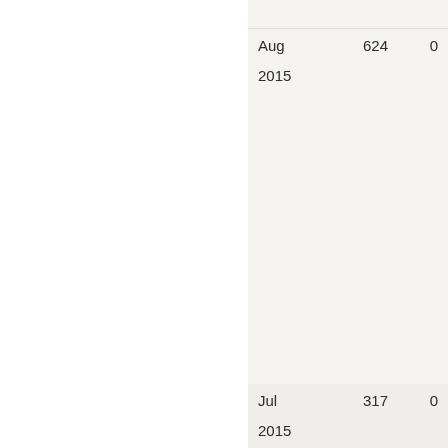| Date | Value1 | Value2 |
| --- | --- | --- |
| Aug 2015 | 624 | 0 |
| Jul 2015 | 317 | 0 |